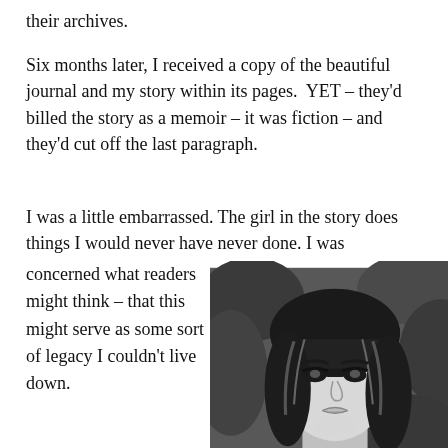their archives.
Six months later, I received a copy of the beautiful journal and my story within its pages. YET – they'd billed the story as a memoir – it was fiction – and they'd cut off the last paragraph.
I was a little embarrassed. The girl in the story does things I would never have never done. I was concerned what readers might think – that this might serve as some sort of legacy I couldn't live down.
[Figure (photo): Black and white portrait photograph of a young woman with long dark hair and bangs, looking at the camera, with foliage visible in the background.]